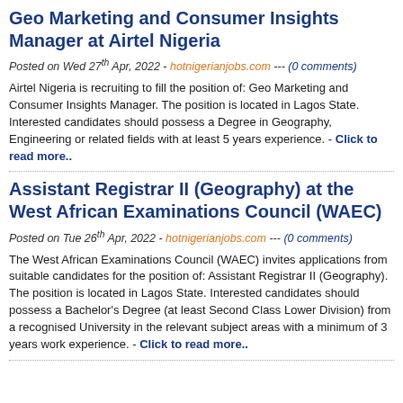Geo Marketing and Consumer Insights Manager at Airtel Nigeria
Posted on Wed 27th Apr, 2022 - hotnigerianjobs.com --- (0 comments)
Airtel Nigeria is recruiting to fill the position of: Geo Marketing and Consumer Insights Manager. The position is located in Lagos State. Interested candidates should possess a Degree in Geography, Engineering or related fields with at least 5 years experience. - Click to read more..
Assistant Registrar II (Geography) at the West African Examinations Council (WAEC)
Posted on Tue 26th Apr, 2022 - hotnigerianjobs.com --- (0 comments)
The West African Examinations Council (WAEC) invites applications from suitable candidates for the position of: Assistant Registrar II (Geography). The position is located in Lagos State. Interested candidates should possess a Bachelor's Degree (at least Second Class Lower Division) from a recognised University in the relevant subject areas with a minimum of 3 years work experience. - Click to read more..